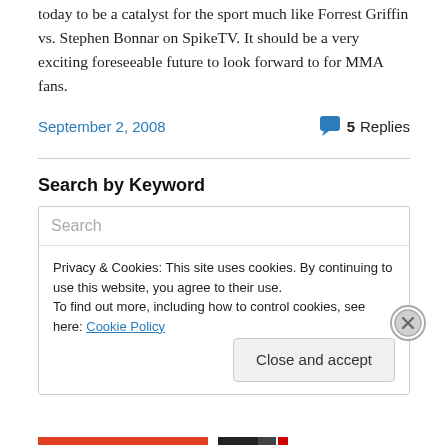today to be a catalyst for the sport much like Forrest Griffin vs. Stephen Bonnar on SpikeTV. It should be a very exciting foreseeable future to look forward to for MMA fans.
September 2, 2008
5 Replies
Search by Keyword
Search
Privacy & Cookies: This site uses cookies. By continuing to use this website, you agree to their use.
To find out more, including how to control cookies, see here: Cookie Policy
Close and accept